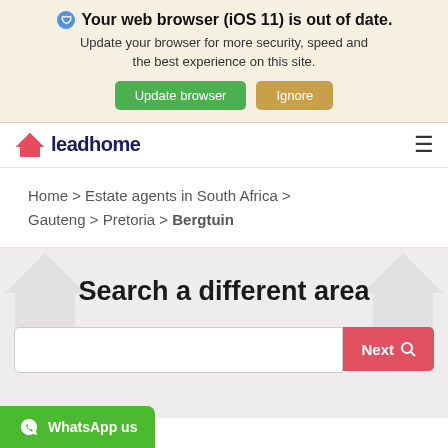Your web browser (iOS 11) is out of date. Update your browser for more security, speed and the best experience on this site. Update browser | Ignore
[Figure (logo): Leadhome logo with red house icon and dark blue text 'leadhome']
Home > Estate agents in South Africa > Gauteng > Pretoria > Bergtuin
Search a different area
Next | WhatsApp us